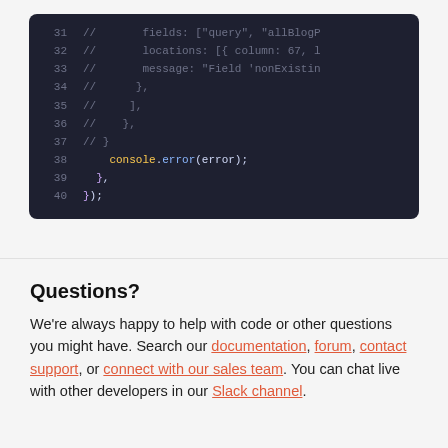[Figure (screenshot): Code editor screenshot showing lines 31-40 of JavaScript code with syntax highlighting on a dark (#1e2030) background. Lines 31-37 show commented-out JSON error object fields. Line 38 shows console.error(error); in yellow/white. Lines 39-40 show closing braces.]
Questions?
We're always happy to help with code or other questions you might have. Search our documentation, forum, contact support, or connect with our sales team. You can chat live with other developers in our Slack channel.